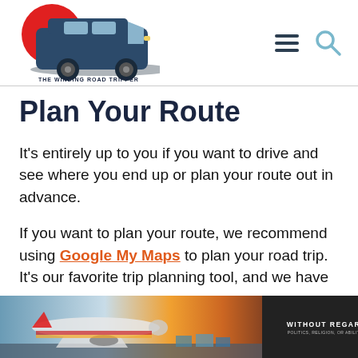[Figure (logo): The Winding Road Tripper logo with a van and red circle]
Plan Your Route
It's entirely up to you if you want to drive and see where you end up or plan your route out in advance.
If you want to plan your route, we recommend using Google My Maps to plan your road trip. It's our favorite trip planning tool, and we have
[Figure (photo): Advertisement banner showing an airplane and cargo with text WITHOUT REGARD TO]